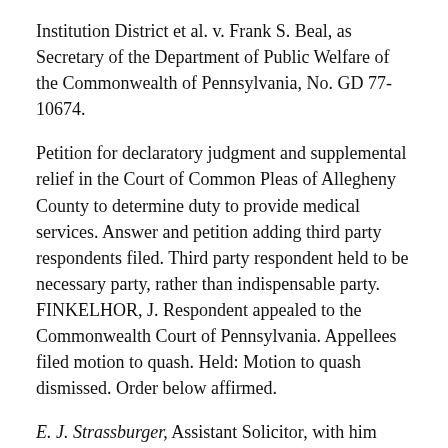Institution District et al. v. Frank S. Beal, as Secretary of the Department of Public Welfare of the Commonwealth of Pennsylvania, No. GD 77-10674.
Petition for declaratory judgment and supplemental relief in the Court of Common Pleas of Allegheny County to determine duty to provide medical services. Answer and petition adding third party respondents filed. Third party respondent held to be necessary party, rather than indispensable party. FINKELHOR, J. Respondent appealed to the Commonwealth Court of Pennsylvania. Appellees filed motion to quash. Held: Motion to quash dismissed. Order below affirmed.
E. J. Strassburger, Assistant Solicitor, with him Alexander J. Jaffurs, County Solicitor, for